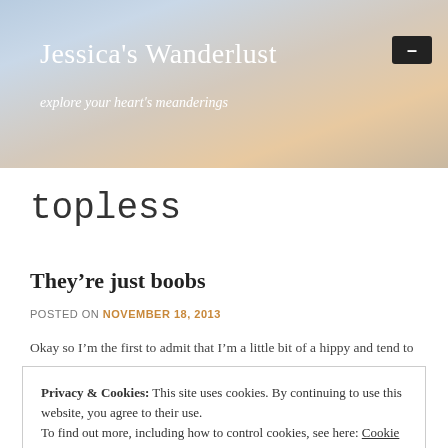Jessica's Wanderlust — explore your heart's meanderings
topless
They're just boobs
POSTED ON NOVEMBER 18, 2013
Okay so I'm the first to admit that I'm a little bit of a hippy and tend to
Privacy & Cookies: This site uses cookies. By continuing to use this website, you agree to their use. To find out more, including how to control cookies, see here: Cookie Policy
different. There is nothing sexual or offensive about them. I am so so